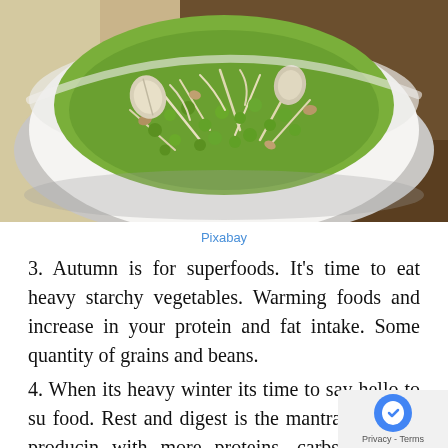[Figure (photo): A white ceramic bowl filled with sprouted mung beans and mixed legume sprouts, placed on a dark wooden surface. The sprouts are green and white with varied textures.]
Pixabay
3. Autumn is for superfoods. It's time to eat heavy starchy vegetables. Warming foods and increase in your protein and fat intake. Some quantity of grains and beans.
4. When its heavy winter its time to say hello to su food. Rest and digest is the mantra. Eat heat producin with more proteins, carbs, fat and starchy veggies. Add seeds